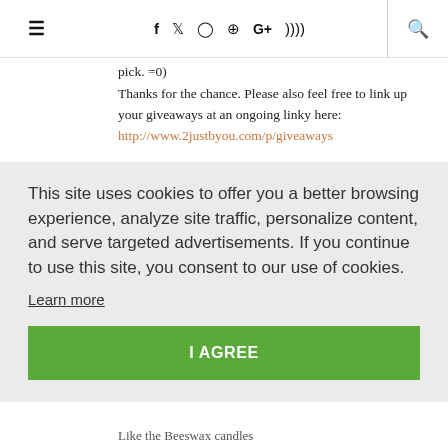≡ f 🐦 📷 pinterest G+ rss 🔍
pick. =0)
Thanks for the chance. Please also feel free to link up your giveaways at an ongoing linky here: http://www.2justbyou.com/p/giveaways
This site uses cookies to offer you a better browsing experience, analyze site traffic, personalize content, and serve targeted advertisements. If you continue to use this site, you consent to our use of cookies.
Learn more
I AGREE
Like the Beeswax candles